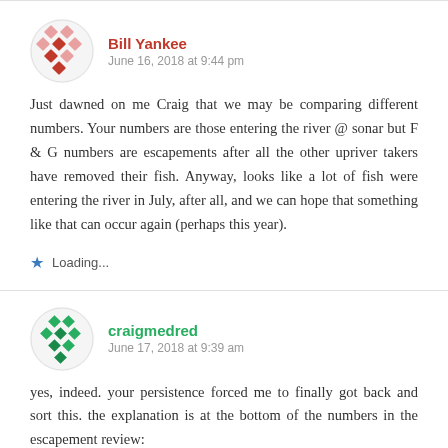Bill Yankee
June 16, 2018 at 9:44 pm
Just dawned on me Craig that we may be comparing different numbers. Your numbers are those entering the river @ sonar but F & G numbers are escapements after all the other upriver takers have removed their fish. Anyway, looks like a lot of fish were entering the river in July, after all, and we can hope that something like that can occur again (perhaps this year).
Loading...
craigmedred
June 17, 2018 at 9:39 am
yes, indeed. your persistence forced me to finally got back and sort this. the explanation is at the bottom of the numbers in the escapement review: